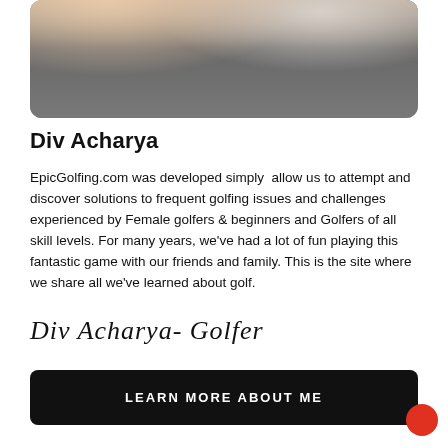[Figure (photo): Close-up photo of a person wearing a gray striped shirt, cropped to show torso and partial arms.]
Div Acharya
EpicGolfing.com was developed simply allow us to attempt and discover solutions to frequent golfing issues and challenges experienced by Female golfers & beginners and Golfers of all skill levels. For many years, we've had a lot of fun playing this fantastic game with our friends and family. This is the site where we share all we've learned about golf.
[Figure (illustration): Handwritten cursive signature reading: Div Acharya- Golfer]
Learn More About Me